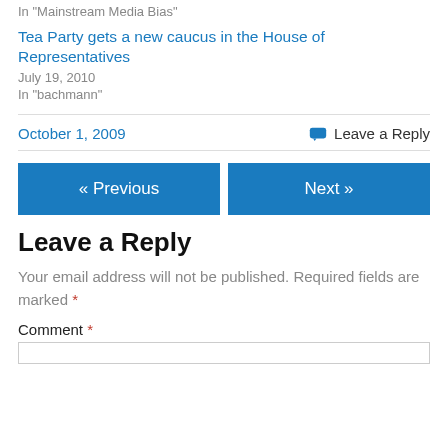In "Mainstream Media Bias"
Tea Party gets a new caucus in the House of Representatives
July 19, 2010
In "bachmann"
October 1, 2009
Leave a Reply
« Previous
Next »
Leave a Reply
Your email address will not be published. Required fields are marked *
Comment *